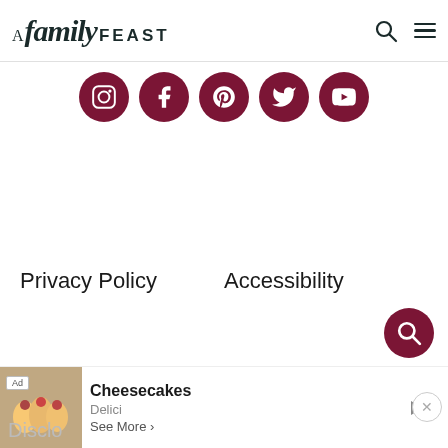A Family Feast
[Figure (illustration): Five dark red circular social media icons: Instagram, Facebook, Pinterest, Twitter, YouTube]
Privacy Policy
Accessibility
[Figure (illustration): Dark red circular floating search button]
[Figure (screenshot): Advertisement bar: Cheesecakes ad with food image, Delici brand, See More button]